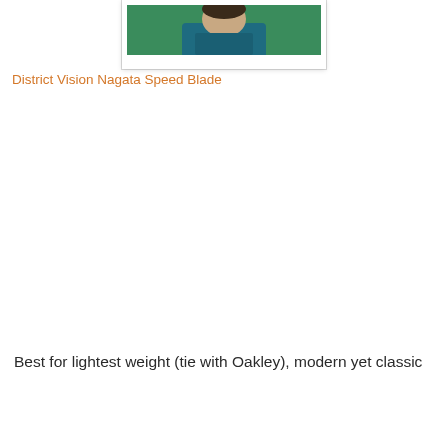[Figure (photo): Photo of a person wearing a teal/dark blue shirt, outdoors with green background, cropped at top of page]
District Vision Nagata Speed Blade
Best for lightest weight (tie with Oakley), modern yet classic